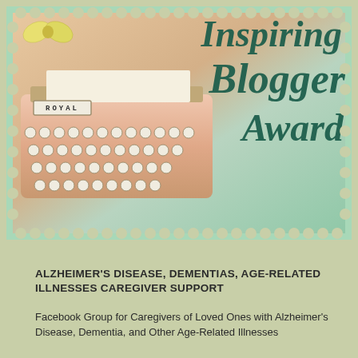[Figure (illustration): Inspiring Blogger Award badge featuring a vintage pink Royal typewriter with a yellow bow on top, set against a mint green scalloped border background, with decorative script text reading 'Inspiring Blogger Award']
ALZHEIMER'S DISEASE, DEMENTIAS, AGE-RELATED ILLNESSES CAREGIVER SUPPORT
Facebook Group for Caregivers of Loved Ones with Alzheimer's Disease, Dementia, and Other Age-Related Illnesses